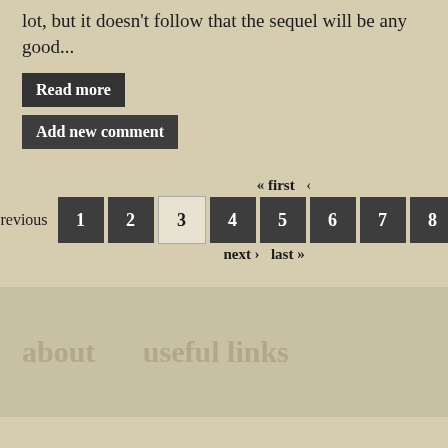lot, but it doesn't follow that the sequel will be any good...
Read more
Add new comment
« first ‹ previous 1 2 3 4 5 6 7 8 next › last »
about   useful links